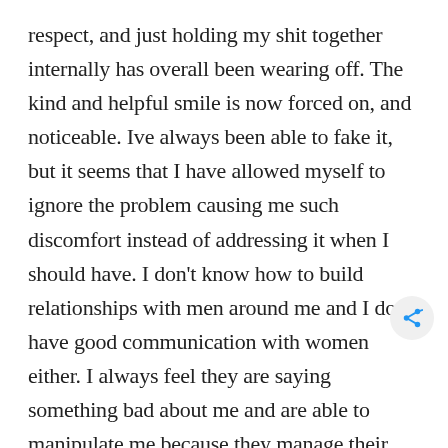respect, and just holding my shit together internally has overall been wearing off. The kind and helpful smile is now forced on, and noticeable. Ive always been able to fake it, but it seems that I have allowed myself to ignore the problem causing me such discomfort instead of addressing it when I should have. I don't know how to build relationships with men around me and I don't have good communication with women either. I always feel they are saying something bad about me and are able to manipulate me because they manage their emotions and hide it better. Im not a manipulator Im the one that gets manipulated. I could never figure it out and was in denial and am in denial. One minute I could be fine but then something switches in me and I realize people are looking at me. My false